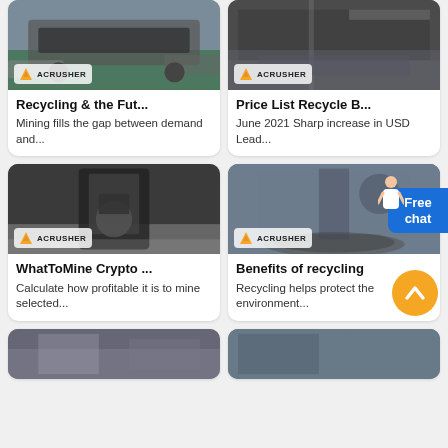[Figure (photo): Mining/crushing equipment on a truck, with ACRUSHER logo badge]
Recycling & the Fut...
Mining fills the gap between demand and...
[Figure (photo): Industrial conveyor/recycling machinery, with ACRUSHER logo badge]
Price List Recycle B...
June 2021 Sharp increase in USD Lead...
[Figure (photo): Industrial vertical mill/crusher machine in factory, with ACRUSHER logo badge]
WhatToMine Crypto ...
Calculate how profitable it is to mine selected...
[Figure (photo): Factory floor with large circular equipment and worker, with ACRUSHER logo badge]
Benefits of recycling
Recycling helps protect the environment...
[Figure (photo): Industrial machinery partial view (bottom row left)]
[Figure (photo): Industrial machinery partial view (bottom row right)]